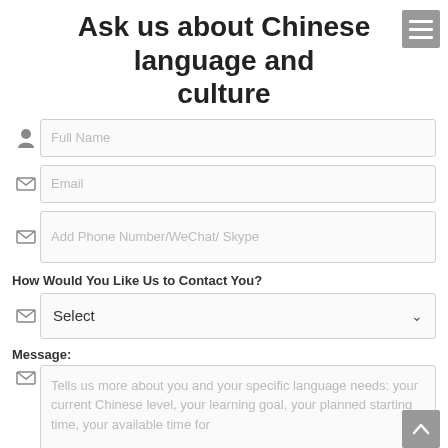Ask us about Chinese language and culture
Full Name
Email
Add Phone Number/WeChat/ Skype
How Would You Like Us to Contact You?
Select
Message:
Tells us more about you and your specific language needs: your current Chinese level, your learning goal, your planned starting time, your available time for